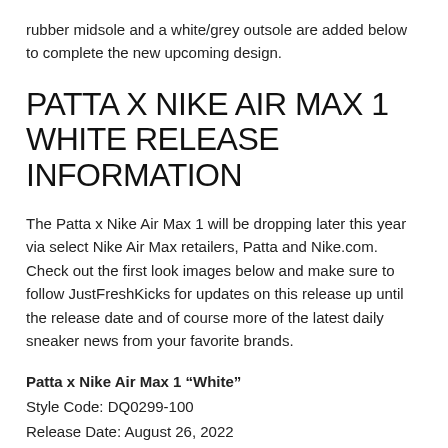rubber midsole and a white/grey outsole are added below to complete the new upcoming design.
PATTA X NIKE AIR MAX 1 WHITE RELEASE INFORMATION
The Patta x Nike Air Max 1 will be dropping later this year via select Nike Air Max retailers, Patta and Nike.com. Check out the first look images below and make sure to follow JustFreshKicks for updates on this release up until the release date and of course more of the latest daily sneaker news from your favorite brands.
Patta x Nike Air Max 1 “White”
Style Code: DQ0299-100
Release Date: August 26, 2022
Price: $180